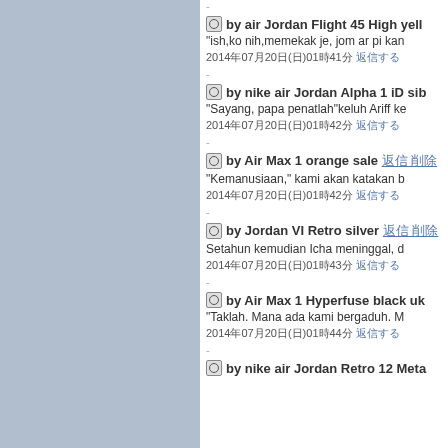by air Jordan Flight 45 High yell... "ish,ko nih,memekak je, jom ar pi kan... 2014年07月20日(日)01時41分 返信する
by nike air Jordan Alpha 1 iD sib... "Sayang, papa penatlah"keluh Ariff ke... 2014年07月20日(日)01時42分 返信する
by Air Max 1 orange sale 返信 削除... "Kemanusiaan," kami akan katakan b... 2014年07月20日(日)01時42分 返信する
by Jordan VI Retro silver 返信 削除... Setahun kemudian Icha meninggal, d... 2014年07月20日(日)01時43分 返信する
by Air Max 1 Hyperfuse black uk... "Taklah. Mana ada kami bergaduh. M... 2014年07月20日(日)01時44分 返信する
by nike air Jordan Retro 12 Meta...